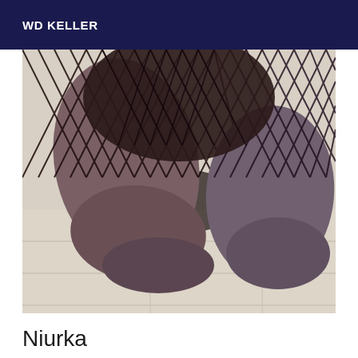WD KELLER
[Figure (photo): Close-up photograph of feet and legs wearing black fishnet stockings, positioned on a light wood floor surface. The image shows multiple feet close together from a low angle.]
Niurka